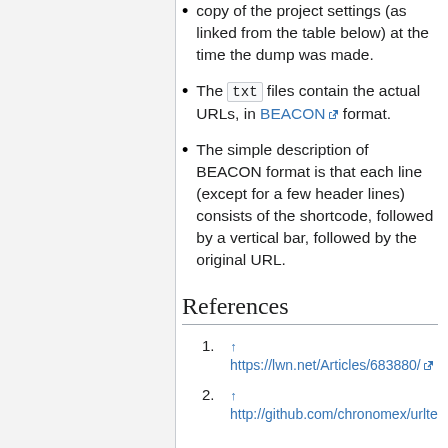copy of the project settings (as linked from the table below) at the time the dump was made.
The txt files contain the actual URLs, in BEACON format.
The simple description of BEACON format is that each line (except for a few header lines) consists of the shortcode, followed by a vertical bar, followed by the original URL.
References
↑ https://lwn.net/Articles/683880/
↑ http://github.com/chronomex/urlte